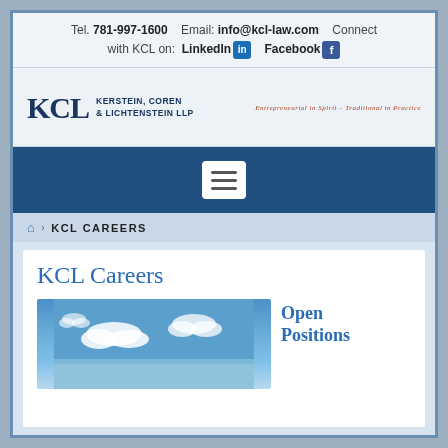Tel. 781-997-1600  Email: info@kcl-law.com  Connect with KCL on: LinkedIn  Facebook
[Figure (logo): KCL Kerstein, Coren & Lichtenstein LLP logo with tagline: Entrepreneurial in Spirit – Traditional in Practice]
[Figure (screenshot): Mobile navigation hamburger menu button on dark blue bar]
🏠 > KCL CAREERS
KCL Careers
[Figure (photo): Blue sky with white clouds photograph]
Open Positions